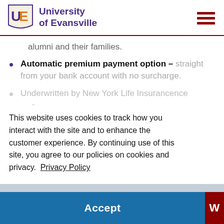University of Evansville
alumni and their families.
Automatic premium payment option – straight from your bank account with no surcharge.
Underwritten by New York Life Insurance Company.
This website uses cookies to track how you interact with the site and to enhance the customer experience. By continuing use of this site, you agree to our policies on cookies and privacy. Privacy Policy
Accept